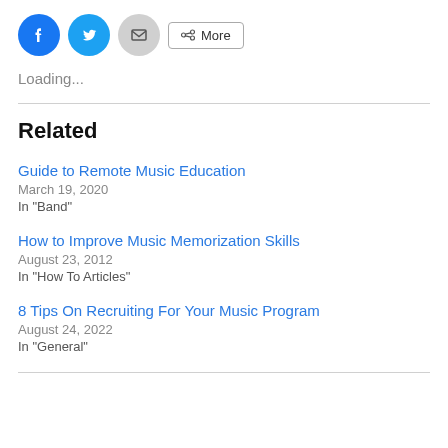[Figure (other): Social sharing buttons row: Facebook (blue circle), Twitter (blue circle), Email (grey circle), More button with share icon]
Loading...
Related
Guide to Remote Music Education
March 19, 2020
In "Band"
How to Improve Music Memorization Skills
August 23, 2012
In "How To Articles"
8 Tips On Recruiting For Your Music Program
August 24, 2022
In "General"